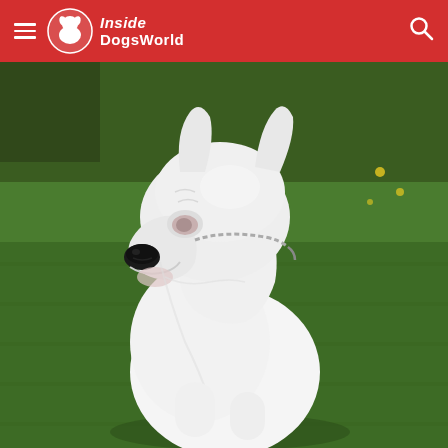Inside DogsWorld
[Figure (photo): A white Dogo Argentino dog sitting on green grass, viewed from slightly above and to the side. The dog has a muscular build, black nose, and is wearing a chain collar. Green lawn background with some yellow flowers visible.]